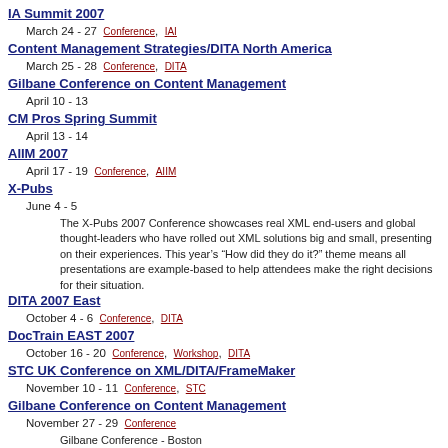IA Summit 2007
March 24 - 27  Conference, IAI
Content Management Strategies/DITA North America
March 25 - 28  Conference, DITA
Gilbane Conference on Content Management
April 10 - 13
CM Pros Spring Summit
April 13 - 14
AIIM 2007
April 17 - 19  Conference, AIIM
X-Pubs
June 4 - 5
The X-Pubs 2007 Conference showcases real XML end-users and global thought-leaders who have rolled out XML solutions big and small, presenting on their experiences. This year’s “How did they do it?” theme means all presentations are example-based to help attendees make the right decisions for their situation.
DITA 2007 East
October 4 - 6  Conference, DITA
DocTrain EAST 2007
October 16 - 20  Conference, Workshop, DITA
STC UK Conference on XML/DITA/FrameMaker
November 10 - 11  Conference, STC
Gilbane Conference on Content Management
November 27 - 29  Conference
Gilbane Conference - Boston
Practical Uses for DITA - Part 1: Service Manual Application